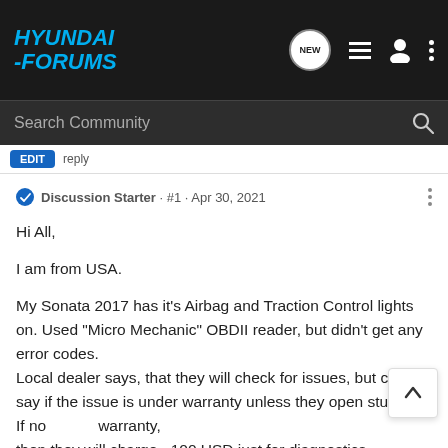HYUNDAI-FORUMS
Search Community
Discussion Starter · #1 · Apr 30, 2021
Hi All,

I am from USA.

My Sonata 2017 has it's Airbag and Traction Control lights on. Used "Micro Mechanic" OBDII reader, but didn't get any error codes.
Local dealer says, that they will check for issues, but can't say if the issue is under warranty unless they open stuff up. If not warranty,
then they will charge ~100 USD just for diagnostics.